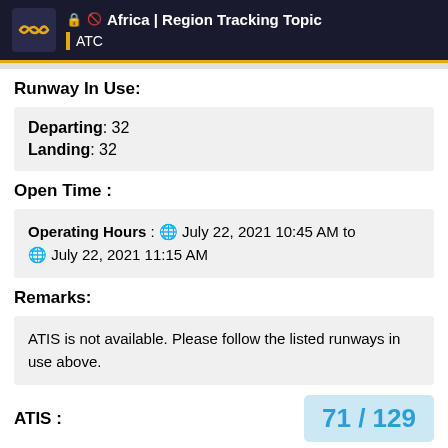Africa | Region Tracking Topic — ATC
Runway In Use:
Departing: 32
Landing: 32
Open Time :
Operating Hours : July 22, 2021 10:45 AM to July 22, 2021 11:15 AM
Remarks:
ATIS is not available. Please follow the listed runways in use above.
ATIS :
71 / 129